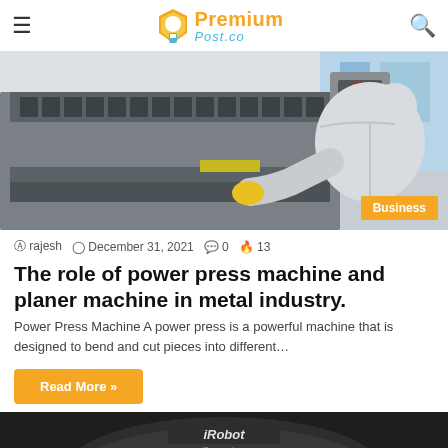Premium Post.co
[Figure (photo): Worker in white lab coat operating a press brake / power press machine in an industrial setting. Business badge visible in bottom right corner.]
rajesh  December 31, 2021  0  13
The role of power press machine and planer machine in metal industry.
Power Press Machine A power press is a powerful machine that is designed to bend and cut pieces into different...
Read More »
[Figure (photo): Partial view of an iRobot Roomba robot vacuum cleaner on a dark surface.]